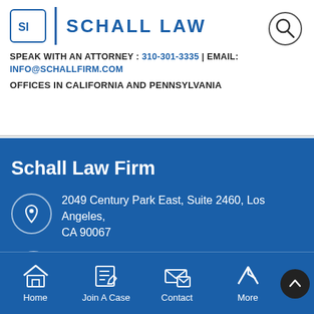[Figure (logo): Schall Law firm logo with 'SI' monogram in a rounded square and text 'SCHALL LAW']
SPEAK WITH AN ATTORNEY : 310-301-3335 | EMAIL: INFO@SCHALLFIRM.COM
OFFICES IN CALIFORNIA AND PENNSYLVANIA
Schall Law Firm
2049 Century Park East, Suite 2460, Los Angeles, CA 90067
[Figure (infographic): Bottom navigation bar with icons: Home, Join A Case, Contact, More]